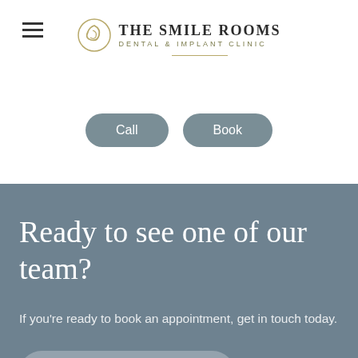[Figure (logo): The Smile Rooms Dental & Implant Clinic logo with spiral icon]
Call
Book
Ready to see one of our team?
If you're ready to book an appointment, get in touch today.
Book an appointment